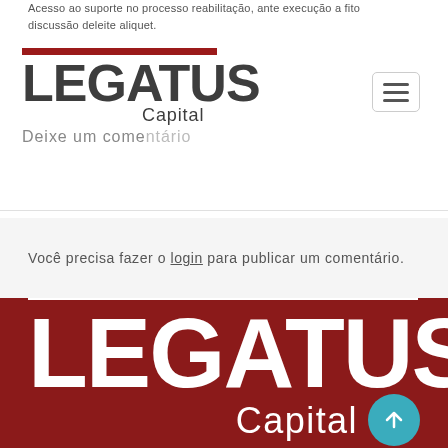Acesso ao suporte no processo reabilitação, ante execução a fito discussão deleite aliquet.
[Figure (logo): Legatus Capital logo with red bar above bold LEGATUS text and Capital subtitle, followed by 'Deixe um comentário' text]
Você precisa fazer o login para publicar um comentário.
[Figure (logo): Legatus Capital footer logo on dark red background with white horizontal bar above large white LEGATUS text and Capital subtitle, with teal scroll-to-top button]